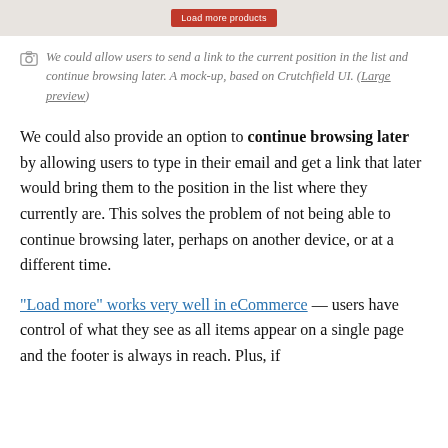[Figure (screenshot): A red 'Load more products' button centered on a light gray bar at the top of the page]
We could allow users to send a link to the current position in the list and continue browsing later. A mock-up, based on Crutchfield UI. (Large preview)
We could also provide an option to continue browsing later by allowing users to type in their email and get a link that later would bring them to the position in the list where they currently are. This solves the problem of not being able to continue browsing later, perhaps on another device, or at a different time.
"Load more" works very well in eCommerce — users have control of what they see as all items appear on a single page and the footer is always in reach. Plus, if